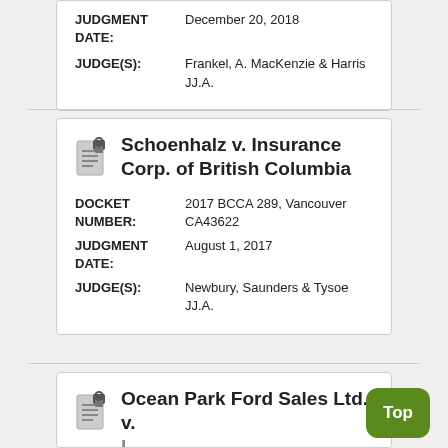| JUDGMENT DATE: | December 20, 2018 |
| JUDGE(S): | Frankel, A. MacKenzie & Harris JJ.A. |
Schoenhalz v. Insurance Corp. of British Columbia
| DOCKET NUMBER: | 2017 BCCA 289, Vancouver CA43622 |
| JUDGMENT DATE: | August 1, 2017 |
| JUDGE(S): | Newbury, Saunders & Tysoe JJ.A. |
Ocean Park Ford Sales Ltd. v. Insurance Corp. of British Columbia